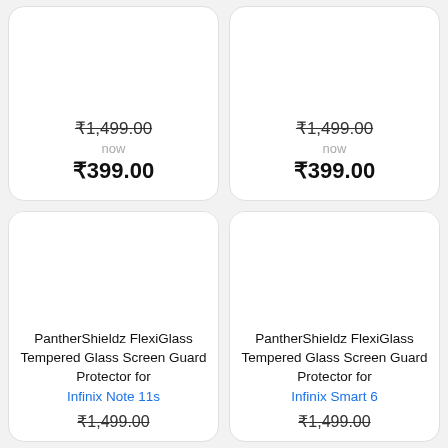₹1,499.00 (strikethrough), now, ₹399.00 — top left card
₹1,499.00 (strikethrough), now, ₹399.00 — top right card
PantherShieldz FlexiGlass Tempered Glass Screen Guard Protector for Infinix Note 11s — ₹1,499.00
PantherShieldz FlexiGlass Tempered Glass Screen Guard Protector for Infinix Smart 6 — ₹1,499.00